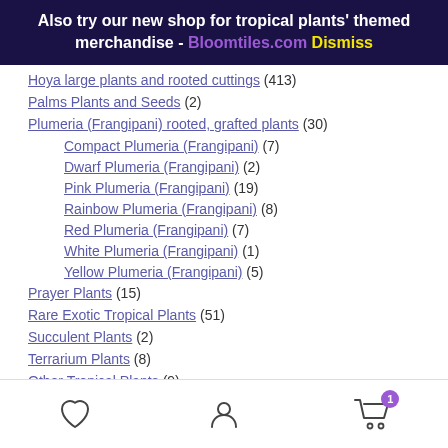Also try our new shop for tropical plants' themed merchandise - Bloomtiles.com Dismiss
Hoya large plants and rooted cuttings (413)
Palms Plants and Seeds (2)
Plumeria (Frangipani) rooted, grafted plants (30)
Compact Plumeria (Frangipani) (7)
Dwarf Plumeria (Frangipani) (2)
Pink Plumeria (Frangipani) (19)
Rainbow Plumeria (Frangipani) (8)
Red Plumeria (Frangipani) (7)
White Plumeria (Frangipani) (1)
Yellow Plumeria (Frangipani) (5)
Prayer Plants (15)
Rare Exotic Tropical Plants (51)
Succulent Plants (2)
Terrarium Plants (8)
Other Tropical Plants (9)
Plant light (2)